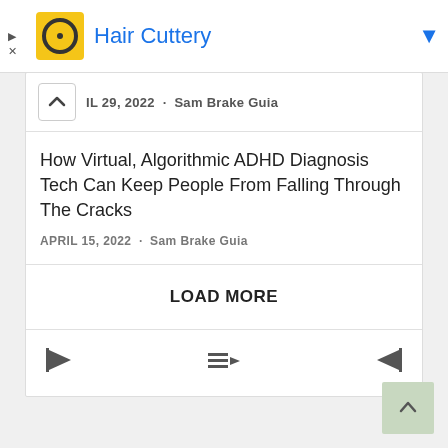[Figure (screenshot): Ad banner for Hair Cuttery with yellow icon, blue title text, and blue dropdown arrow]
IL 29, 2022 · Sam Brake Guia
How Virtual, Algorithmic ADHD Diagnosis Tech Can Keep People From Falling Through The Cracks
APRIL 15, 2022 · Sam Brake Guia
LOAD MORE